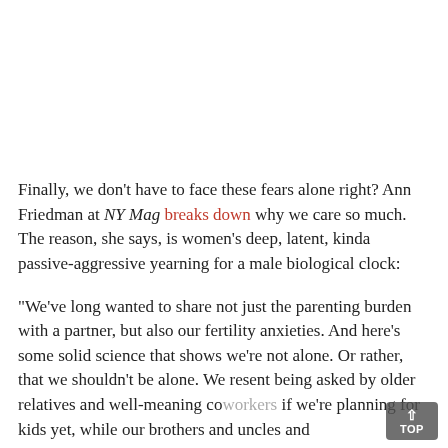Finally, we don't have to face these fears alone right? Ann Friedman at NY Mag breaks down why we care so much. The reason, she says, is women's deep, latent, kinda passive-aggressive yearning for a male biological clock:
"We've long wanted to share not just the parenting burden with a partner, but also our fertility anxieties. And here's some solid science that shows we're not alone. Or rather, that we shouldn't be alone. We resent being asked by older relatives and well-meaning coworkers if we're planning for kids yet, while our brothers and uncles and boyfriends and life-fellows are not ... But then they arrived at...